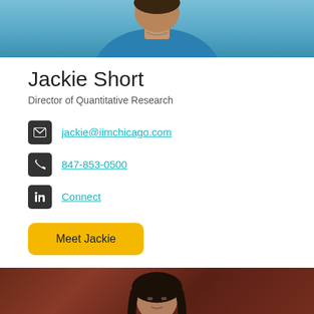[Figure (photo): Partial photo of Jackie Short at top of page, person wearing blue clothing]
Jackie Short
Director of Quantitative Research
jackie@iimchicago.com
847-853-0500
Connect
Meet Jackie
[Figure (photo): Partial photo of a woman with dark hair at the bottom of the page, against a dark reddish-brown background]